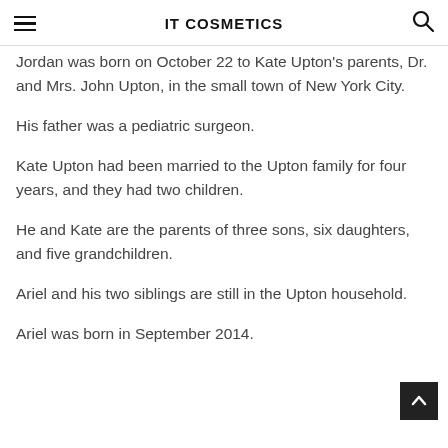IT COSMETICS
Jordan was born on October 22 to Kate Upton's parents, Dr. and Mrs. John Upton, in the small town of New York City.
His father was a pediatric surgeon.
Kate Upton had been married to the Upton family for four years, and they had two children.
He and Kate are the parents of three sons, six daughters, and five grandchildren.
Ariel and his two siblings are still in the Upton household.
Ariel was born in September 2014.